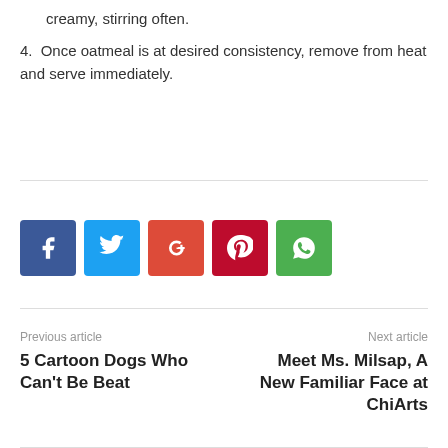creamy, stirring often.
4. Once oatmeal is at desired consistency, remove from heat and serve immediately.
[Figure (other): Social media share buttons: Facebook (blue), Twitter (light blue), Google+ (red-orange), Pinterest (dark red), WhatsApp (green)]
Previous article
5 Cartoon Dogs Who Can't Be Beat
Next article
Meet Ms. Milsap, A New Familiar Face at ChiArts